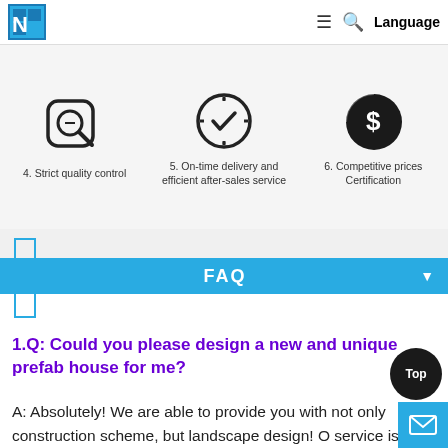production base
[Figure (infographic): Three icons: magnifying glass (Strict quality control), clock with checkmark (On-time delivery and efficient after-sales service), dollar coin (Competitive prices Certification)]
4. Strict quality control
5. On-time delivery and efficient after-sales service
6. Competitive prices Certification
FAQ
1.Q: Could you please design a new and unique prefab house for me?
A: Absolutely! We are able to provide you with not only construction scheme, but landscape design! O service is our outstanding superiority with no dou